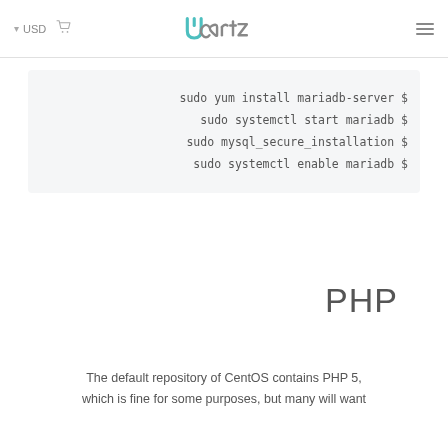USD | Ucartz
$ sudo yum install mariadb-server
$ sudo systemctl start mariadb
$ sudo mysql_secure_installation
$ sudo systemctl enable mariadb
PHP
The default repository of CentOS contains PHP 5, which is fine for some purposes, but many will want